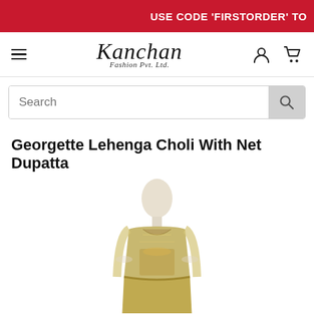USE CODE 'FIRSTORDER' TO
[Figure (logo): Kanchan Fashion Pvt. Ltd. logo with hamburger menu, user icon, and cart icon]
Search
Georgette Lehenga Choli With Net Dupatta
[Figure (photo): Mannequin wearing a gold/green embroidered Georgette Lehenga Choli with Net Dupatta]